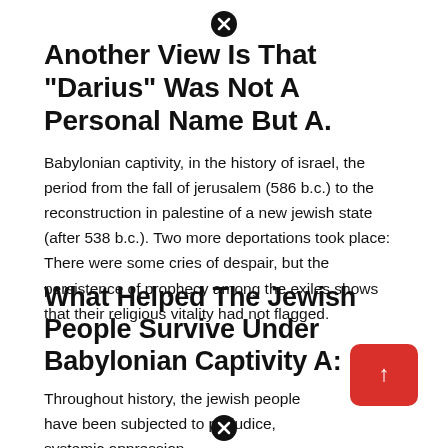Another View Is That “Darius” Was Not A Personal Name But A.
Babylonian captivity, in the history of israel, the period from the fall of jerusalem (586 b.c.) to the reconstruction in palestine of a new jewish state (after 538 b.c.). Two more deportations took place: There were some cries of despair, but the persistence of prophecy among the exiles shows that their religious vitality had not flagged.
What Helped The Jewish People Survive Under Babylonian Captivity A:
Throughout history, the jewish people have been subjected to prejudice, systemic oppression,